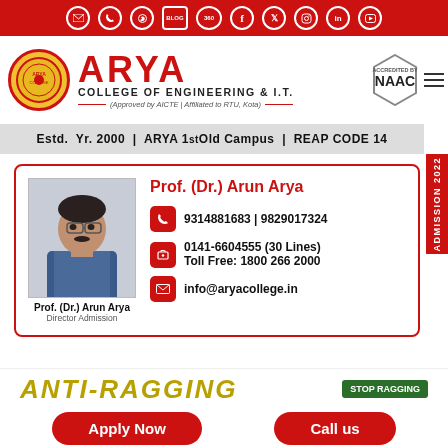Top navigation bar with social/contact icons on red background
ARYA COLLEGE OF ENGINEERING & I.T.
(Approved by AICTE | Affiliated to RTU, Kota)
Estd. Yr. 2000 | ARYA 1st Old Campus | REAP CODE 14
[Figure (infographic): Contact card for Prof. (Dr.) Arun Arya, Director Admission, with photo, phone numbers 9314881683 | 9829017324, office 0141-6604555 (30 Lines), Toll Free: 1800 266 2000, email info@aryacollege.in]
ANTI-RAGGING
STOP RAGGING
Apply Now
Call us